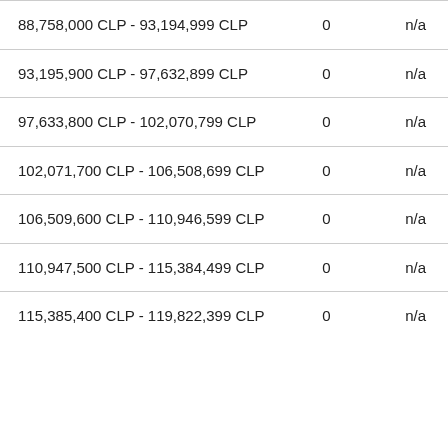| Range | Count | Value |
| --- | --- | --- |
| 88,758,000 CLP - 93,194,999 CLP | 0 | n/a |
| 93,195,900 CLP - 97,632,899 CLP | 0 | n/a |
| 97,633,800 CLP - 102,070,799 CLP | 0 | n/a |
| 102,071,700 CLP - 106,508,699 CLP | 0 | n/a |
| 106,509,600 CLP - 110,946,599 CLP | 0 | n/a |
| 110,947,500 CLP - 115,384,499 CLP | 0 | n/a |
| 115,385,400 CLP - 119,822,399 CLP | 0 | n/a |